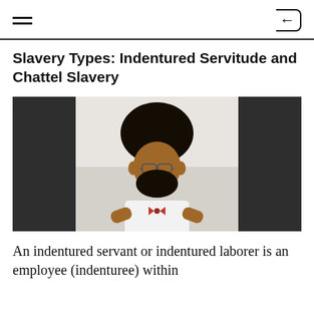Slavery Types: Indentured Servitude and Chattel Slavery
[Figure (photo): A person with an afro hairstyle and beard wearing glasses, a white shirt, and a red bow tie, photographed indoors. The image has dark blurred areas on either side.]
An indentured servant or indentured laborer is an employee (indenturee) within